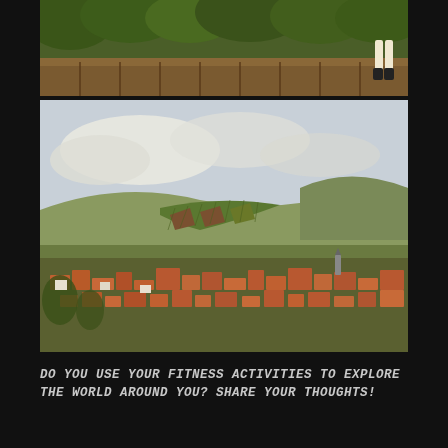[Figure (photo): Close-up photo of vineyard with green foliage and brown soil, person's legs partially visible at top right]
[Figure (photo): Aerial/elevated view of a European town with red-tiled rooftops surrounded by vineyard-covered hills and countryside, cloudy sky]
DO YOU USE YOUR FITNESS ACTIVITIES TO EXPLORE THE WORLD AROUND YOU? SHARE YOUR THOUGHTS!